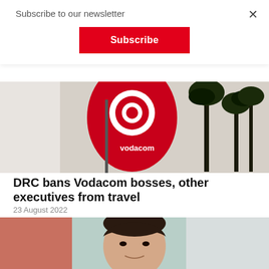Subscribe to our newsletter
Subscribe
[Figure (photo): Vodacom branded banner/flag with logo, palm trees in background]
DRC bans Vodacom bosses, other executives from travel
23 August 2022
[Figure (photo): Portrait photo of a man, partially cropped, smiling]